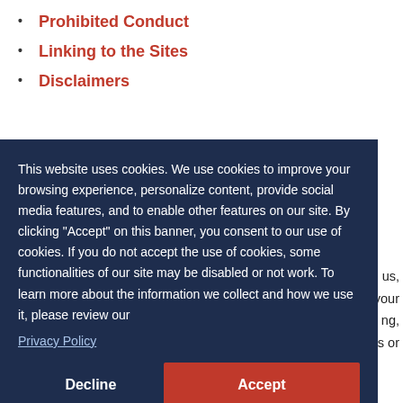Prohibited Conduct
Linking to the Sites
Disclaimers
This website uses cookies. We use cookies to improve your browsing experience, personalize content, provide social media features, and to enable other features on our site. By clicking “Accept” on this banner, you consent to our use of cookies. If you do not accept the use of cookies, some functionalities of our site may be disabled or not work. To learn more about the information we collect and how we use it, please review our
Privacy Policy
nd us, g your ng, ites or
any of the Services, you acknowledge that you have read